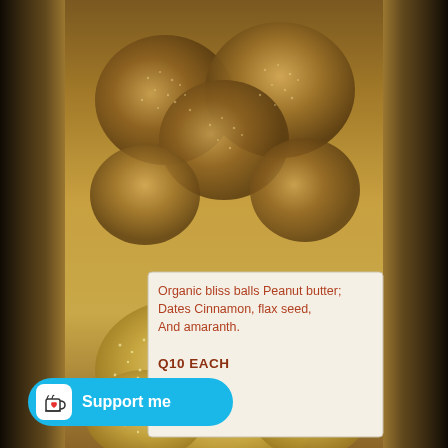[Figure (photo): A glass jar filled with organic bliss balls coated in amaranth seeds. The jar has a white label showing ingredients and price. The balls are brown and densely coated with small white/golden seeds.]
Organic bliss balls Peanut butter; Dates Cinnamon, flax seed, And amaranth.

Q10 EACH
[Figure (logo): Ko-fi style support button: cyan/blue rounded rectangle with a white coffee cup icon with a heart, and text 'Support me' in white.]